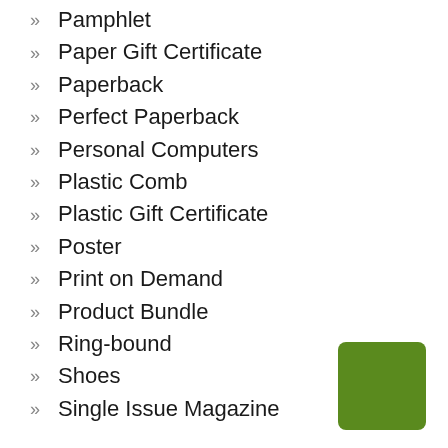Pamphlet
Paper Gift Certificate
Paperback
Perfect Paperback
Personal Computers
Plastic Comb
Plastic Gift Certificate
Poster
Print on Demand
Product Bundle
Ring-bound
Shoes
Single Issue Magazine